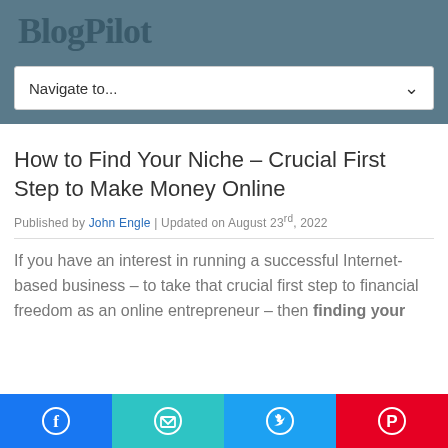BlogPilot
Navigate to...
How to Find Your Niche – Crucial First Step to Make Money Online
Published by John Engle | Updated on August 23rd, 2022
If you have an interest in running a successful Internet-based business – to take that crucial first step to financial freedom as an online entrepreneur – then finding your